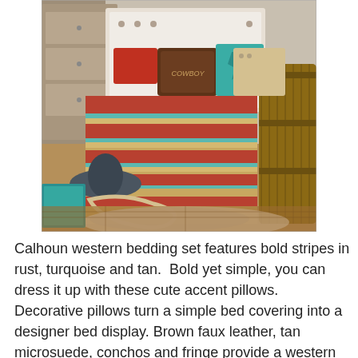[Figure (photo): A western-style bedroom bed with bold striped bedding in rust, turquoise and tan colors. Multiple decorative pillows including a brown 'COWBOY' pillow and a turquoise Texas-shaped pillow. A cowboy hat and rope are on the floor beside the bed, along with a cowhide rug. A wooden barrel is visible on the right side.]
Calhoun western bedding set features bold stripes in rust, turquoise and tan.  Bold yet simple, you can dress it up with these cute accent pillows. Decorative pillows turn a simple bed covering into a designer bed display. Brown faux leather, tan microsuede, conchos and fringe provide a western flair to the beautiful pillow accents. [...]